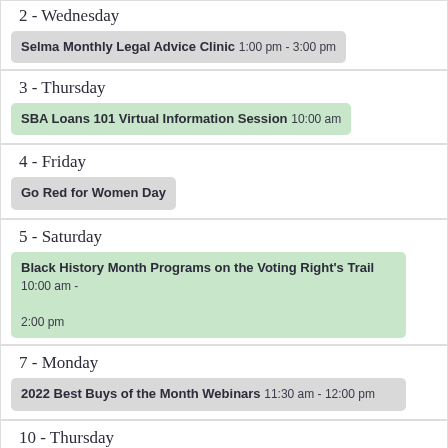2 - Wednesday
Selma Monthly Legal Advice Clinic 1:00 pm - 3:00 pm
3 - Thursday
SBA Loans 101 Virtual Information Session 10:00 am
4 - Friday
Go Red for Women Day
5 - Saturday
Black History Month Programs on the Voting Right's Trail 10:00 am - 2:00 pm
7 - Monday
2022 Best Buys of the Month Webinars 11:30 am - 12:00 pm
10 - Thursday
SBA Loans 201 Virtual Information Session 10:00 am